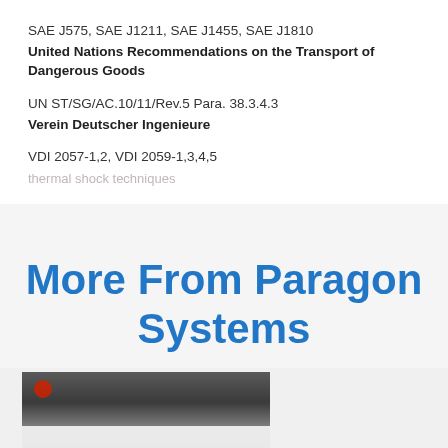SAE J575, SAE J1211, SAE J1455, SAE J1810
United Nations Recommendations on the Transport of Dangerous Goods
UN ST/SG/AC.10/11/Rev.5 Para. 38.3.4.3
Verein Deutscher Ingenieure
VDI 2057-1,2, VDI 2059-1,3,4,5
thermal shock techniques
More From Paragon Systems
[Figure (photo): Partially visible photograph showing what appears to be a dark-colored device or equipment piece with a red indicator light, on a light background.]